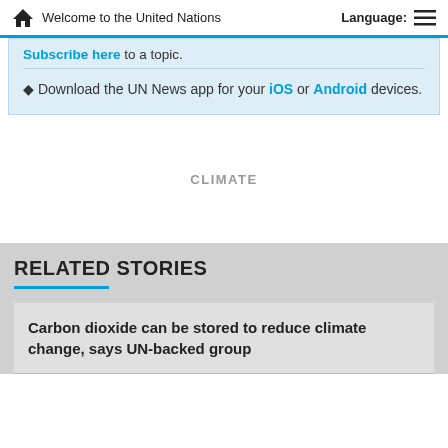Welcome to the United Nations   Language:
Subscribe here to a topic.
Download the UN News app for your iOS or Android devices.
CLIMATE
RELATED STORIES
Carbon dioxide can be stored to reduce climate change, says UN-backed group